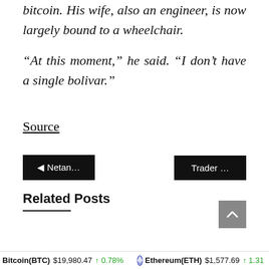bitcoin. His wife, also an engineer, is now largely bound to a wheelchair.
“At this moment,” he said. “I don’t have a single bolivar.”
Source
◄ Netan...
Trader ...
Related Posts
Bitcoin(BTC) $19,980.47 ↑ 0.78% Ethereum(ETH) $1,577.69 ↑ 1.31